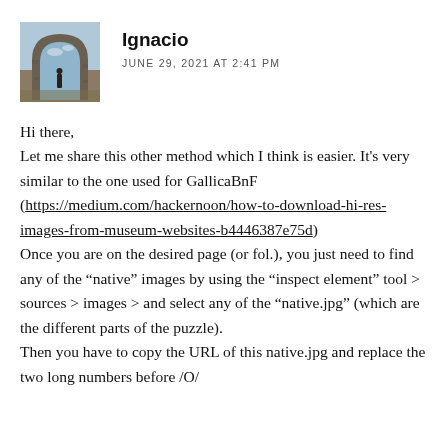[Figure (photo): Avatar photo of a person standing in a stone archway/ruin, landscape visible in background.]
Ignacio
JUNE 29, 2021 AT 2:41 PM
Hi there,
Let me share this other method which I think is easier. It's very similar to the one used for GallicaBnF (https://medium.com/hackernoon/how-to-download-hi-res-images-from-museum-websites-b4446387e75d)
Once you are on the desired page (or fol.), you just need to find any of the “native” images by using the “inspect element” tool > sources > images > and select any of the “native.jpg” (which are the different parts of the puzzle).
Then you have to copy the URL of this native.jpg and replace the two long numbers before /O/